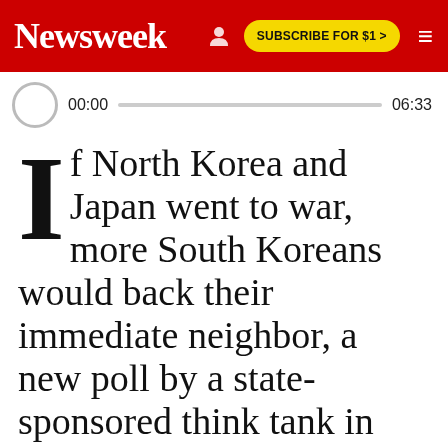Newsweek
[Figure (screenshot): Audio player bar showing 00:00 start time and 06:33 end time with a progress track]
If North Korea and Japan went to war, more South Koreans would back their immediate neighbor, a new poll by a state-sponsored think tank in Seoul showed.